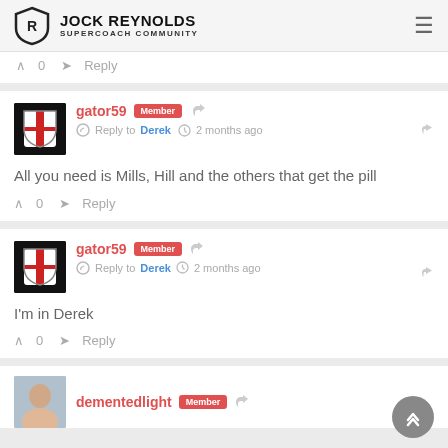JOCK REYNOLDS SUPERCOACH COMMUNITY
0   Reply
gator59 Member
Reply to Derek  2 months ago
All you need is Mills, Hill and the others that get the pill
0   Reply
gator59 Member
Reply to Derek  2 months ago
I'm in Derek
0   Reply
dementedlight Member